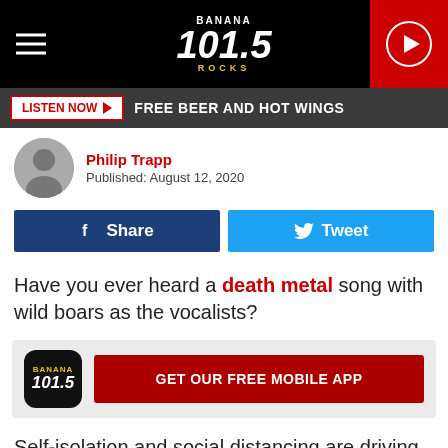Banana 101.5 Rocks — LISTEN NOW ▶ FREE BEER AND HOT WINGS
Philip Trapp
Published: August 12, 2020
f Share   Tweet
Have you ever heard a death metal song with wild boars as the vocalists?
[Figure (infographic): GET OUR FREE MOBILE APP banner with app icon]
Self-isolation and social distancing are driving many musicians to be more creative than usual, especially when